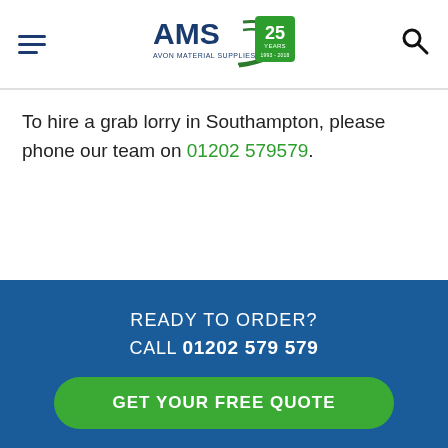AMS Avon Material Supplies Ltd — Celebrating 25 Years
To hire a grab lorry in Southampton, please phone our team on 01202 579579.
READY TO ORDER?
CALL 01202 579 579
GET YOUR FREE QUOTE